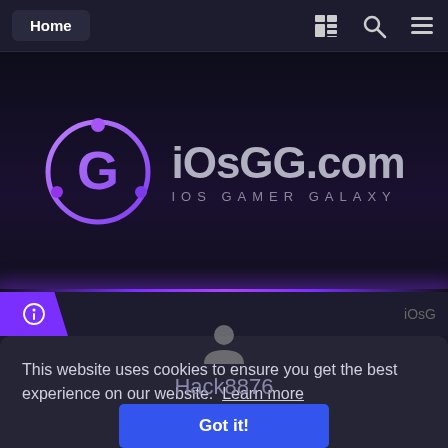Home
[Figure (logo): iOsGG.com iOS Gamer Galaxy logo with purple circular G icon]
This website uses cookies to ensure you get the best experience on our website.  Learn more
Hack8876
Got it!
Advanced Member